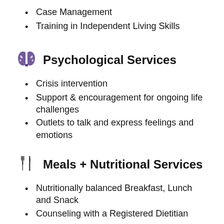Case Management
Training in Independent Living Skills
Psychological Services
Crisis intervention
Support & encouragement for ongoing life challenges
Outlets to talk and express feelings and emotions
Meals + Nutritional Services
Nutritionally balanced Breakfast, Lunch and Snack
Counseling with a Registered Dietitian
Meal time assistance